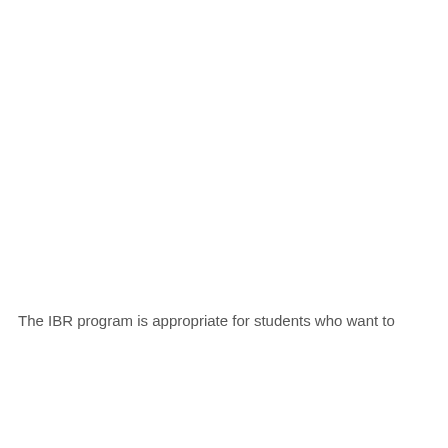The IBR program is appropriate for students who want to